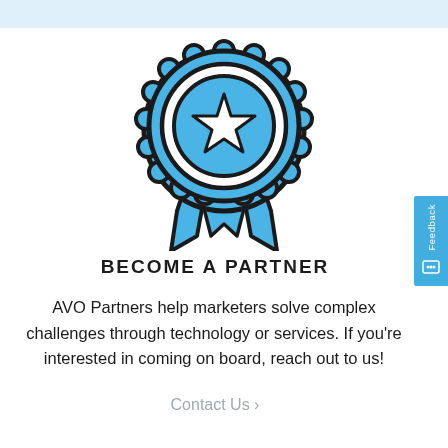[Figure (illustration): Blue award ribbon/medal icon with a star in the center, decorative scalloped edge on the circular medallion, and ribbon tails at the bottom. Black outline style on white background.]
BECOME A PARTNER
AVO Partners help marketers solve complex challenges through technology or services. If you're interested in coming on board, reach out to us!
Contact Us >